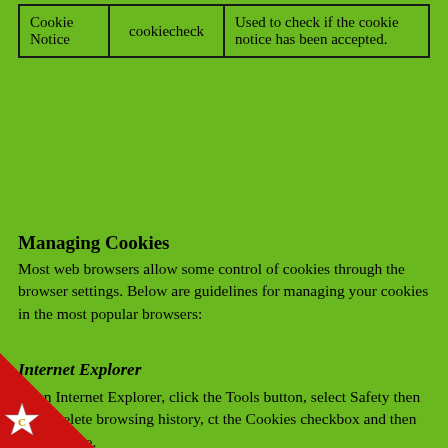| Cookie Notice | cookiecheck | Used to check if the cookie notice has been accepted. |
Managing Cookies
Most web browsers allow some control of cookies through the browser settings. Below are guidelines for managing your cookies in the most popular browsers:
Internet Explorer
Open Internet Explorer, click the Tools button, select Safety then click Delete browsing history, ct the Cookies checkbox and then click Delete.